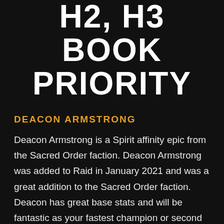H2, H3 BOOK PRIORITY
DEACON ARMSTRONG
Deacon Armstrong is a Spirit affinity epic from the Sacred Order faction. Deacon Armstrong was added to Raid in January 2021 and was a great addition to the Sacred Order faction. Deacon has great base stats and will be fantastic as your fastest champion or second champion in the arena capable of increasing your turn meter, decreasing the enemies' turn meter, and dropping the enemy defense all in